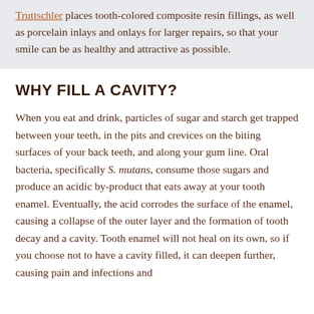Truttschler places tooth-colored composite resin fillings, as well as porcelain inlays and onlays for larger repairs, so that your smile can be as healthy and attractive as possible.
WHY FILL A CAVITY?
When you eat and drink, particles of sugar and starch get trapped between your teeth, in the pits and crevices on the biting surfaces of your back teeth, and along your gum line. Oral bacteria, specifically S. mutans, consume those sugars and produce an acidic by-product that eats away at your tooth enamel. Eventually, the acid corrodes the surface of the enamel, causing a collapse of the outer layer and the formation of tooth decay and a cavity. Tooth enamel will not heal on its own, so if you choose not to have a cavity filled, it can deepen further, causing pain and infections and